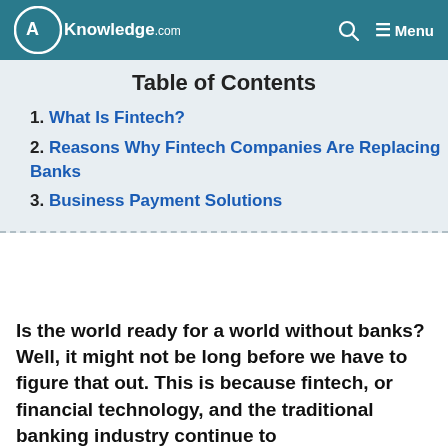AKnowledge.com — Menu
Table of Contents
1. What Is Fintech?
2. Reasons Why Fintech Companies Are Replacing Banks
3. Business Payment Solutions
Is the world ready for a world without banks? Well, it might not be long before we have to figure that out. This is because fintech, or financial technology, and the traditional banking industry continue to